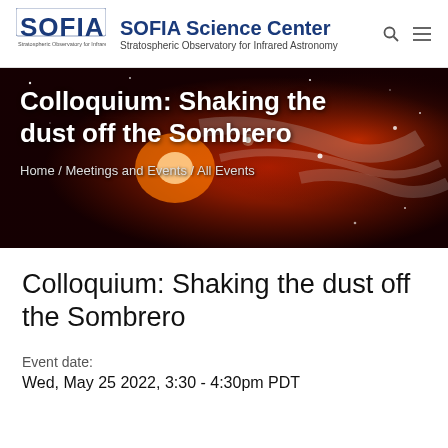[Figure (logo): SOFIA logo — Stratospheric Observatory for Infrared Astronomy logo with text]
SOFIA Science Center
Stratospheric Observatory for Infrared Astronomy
Colloquium: Shaking the dust off the Sombrero
Home / Meetings and Events / All Events
Colloquium: Shaking the dust off the Sombrero
Event date:
Wed, May 25 2022, 3:30 - 4:30pm PDT